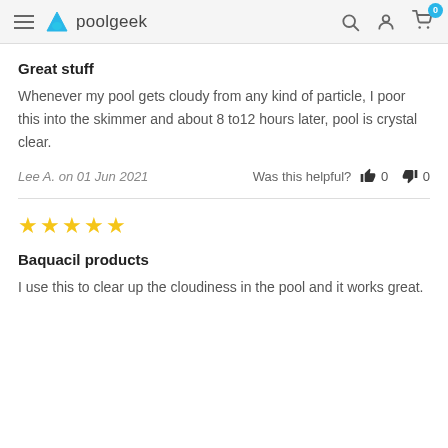poolgeek
Great stuff
Whenever my pool gets cloudy from any kind of particle, I poor this into the skimmer and about 8 to12 hours later, pool is crystal clear.
Lee A. on 01 Jun 2021   Was this helpful? 👍 0 👎 0
[Figure (other): Five gold star rating]
Baquacil products
I use this to clear up the cloudiness in the pool and it works great.